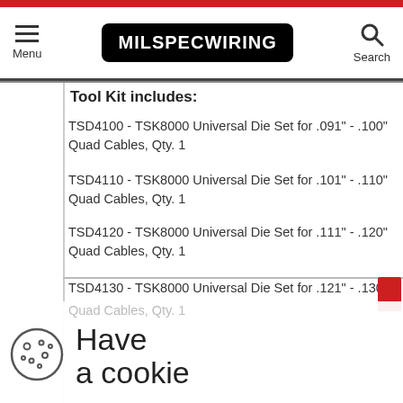MILSPECWIRING — Menu / Search navigation header
Tool Kit includes:
TSD4100 - TSK8000 Universal Die Set for .091" - .100" Quad Cables, Qty. 1
TSD4110 - TSK8000 Universal Die Set for .101" - .110" Quad Cables, Qty. 1
TSD4120 - TSK8000 Universal Die Set for .111" - .120" Quad Cables, Qty. 1
TSD4130 - TSK8000 Universal Die Set for .121" - .130" Quad Cables, Qty. 1
TSD4140 - TSK8000 Universal Die Set for .131" - .140" Quad Cables, Qty. 1
TSD4150 - TSK8000 Universal Die Set for .141" - .150" Quad Cables, Qty. 1
TSD4160 - TSK8000 Universal Die Set for ... .160" Quad Cables, Qty. 1
Quad Cables, Qty. 1
Have a cookie — Accept the use of cookies on this site more information — I Accept